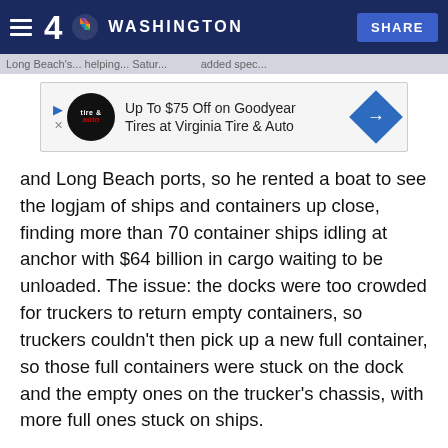4 NBC WASHINGTON | SHARE
[Figure (screenshot): Advertisement banner: Up To $75 Off on Goodyear Tires at Virginia Tire & Auto]
and Long Beach ports, so he rented a boat to see the logjam of ships and containers up close, finding more than 70 container ships idling at anchor with $64 billion in cargo waiting to be unloaded. The issue: the docks were too crowded for truckers to return empty containers, so truckers couldn't then pick up a new full container, so those full containers were stuck on the dock and the empty ones on the trucker's chassis, with more full ones stuck on ships.
"This is a negative feedback loop that is rapidly cycling out of control that if it continues unabated will destroy the global economy," Petersen tweeted.